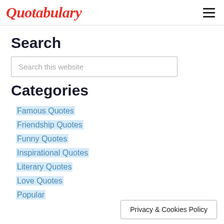Quotabulary
Search
Search this website
Categories
Famous Quotes
Friendship Quotes
Funny Quotes
Inspirational Quotes
Literary Quotes
Love Quotes
Popular
Privacy & Cookies Policy